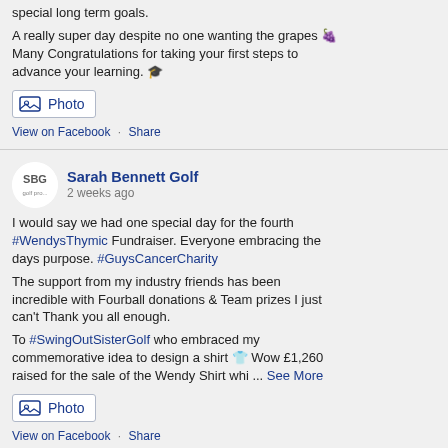special long term goals.
A really super day despite no one wanting the grapes 🍇 Many Congratulations for taking your first steps to advance your learning. 🎓
[Figure (other): Photo attachment button]
View on Facebook · Share
Sarah Bennett Golf
2 weeks ago
I would say we had one special day for the fourth #WendysThymic Fundraiser. Everyone embracing the days purpose. #GuysCancerCharity
The support from my industry friends has been incredible with Fourball donations & Team prizes I just can't Thank you all enough.
To #SwingOutSisterGolf who embraced my commemorative idea to design a shirt 👕 Wow £1,260 raised for the sale of the Wendy Shirt whi ... See More
[Figure (other): Photo attachment button]
View on Facebook · Share